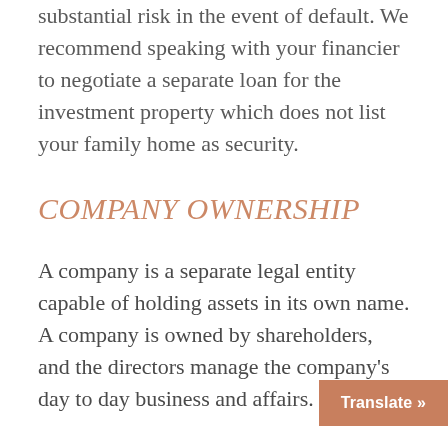substantial risk in the event of default. We recommend speaking with your financier to negotiate a separate loan for the investment property which does not list your family home as security.
COMPANY OWNERSHIP
A company is a separate legal entity capable of holding assets in its own name. A company is owned by shareholders, and the directors manage the company's day to day business and affairs. The s...